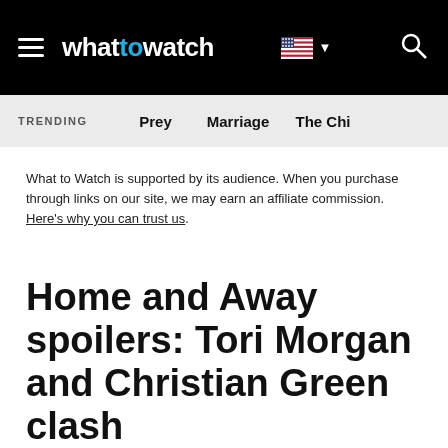whattowatch | TRENDING: Prey | Marriage | The Chi
What to Watch is supported by its audience. When you purchase through links on our site, we may earn an affiliate commission. Here's why you can trust us.
Home and Away spoilers: Tori Morgan and Christian Green clash